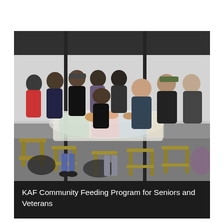[Figure (photo): A group of people sitting around a table with a colorful tablecloth, eating a meal together in what appears to be an outdoor or semi-outdoor setting under a canopy structure, against a white/grey wall background. The setting looks like a community meal event.]
KAF Community Feeding Program for Seniors and Veterans